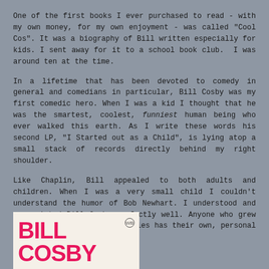One of the first books I ever purchased to read - with my own money, for my own enjoyment - was called "Cool Cos". It was a biography of Bill written especially for kids. I sent away for it to a school book club.  I was around ten at the time.
In a lifetime that has been devoted to comedy in general and comedians in particular, Bill Cosby was my first comedic hero. When I was a kid I thought that he was the smartest, coolest, funniest human being who ever walked this earth. As I write these words his second LP, "I Started out as a Child", is lying atop a small stack of records directly behind my right shoulder.
Like Chaplin, Bill appealed to both adults and children. When I was a very small child I couldn't understand the humor of Bob Newhart. I understood and appreciated Bill Cosby perfectly well. Anyone who grew up in the sixties and seventies has their own, personal Cosby memories:
[Figure (photo): Album or book cover showing 'BILL COSBY' in large pink/magenta bold text on a light cream background, with a Warner Bros logo in the top right corner.]